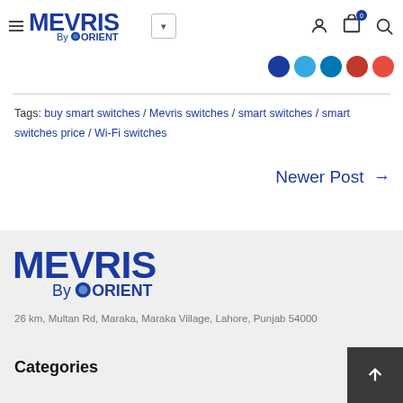MEVRIS By ORIENT — Navigation header with hamburger menu, logo, dropdown, user icon, cart (0), and search icon
Tags: buy smart switches / Mevris switches / smart switches / smart switches price / Wi-Fi switches
Newer Post →
[Figure (logo): MEVRIS By ORIENT logo — large version in footer area]
26 km, Multan Rd, Maraka, Maraka Village, Lahore, Punjab 54000
Categories